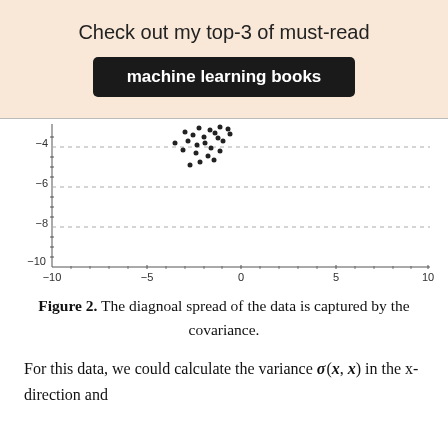Check out my top-3 of must-read
machine learning books
[Figure (continuous-plot): Scatter plot showing data points clustered in upper-left region (around x=-3 to -1, y=-3 to -5), with dashed horizontal gridlines at y=-4, -6, -8, -10. X-axis labeled 'x', ranges from -10 to 10. Y-axis ranges from -10 upward (partially shown).]
Figure 2. The diagnoal spread of the data is captured by the covariance.
For this data, we could calculate the variance σ(x, x) in the x-direction and